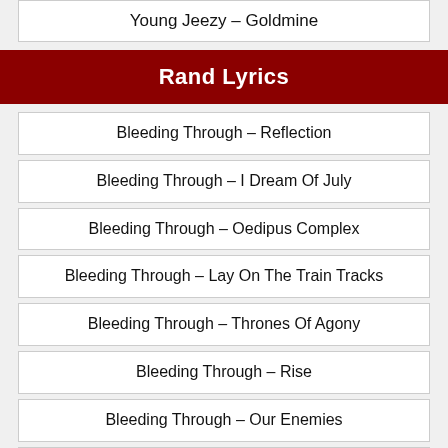Young Jeezy – Goldmine
Rand Lyrics
Bleeding Through – Reflection
Bleeding Through – I Dream Of July
Bleeding Through – Oedipus Complex
Bleeding Through – Lay On The Train Tracks
Bleeding Through – Thrones Of Agony
Bleeding Through – Rise
Bleeding Through – Our Enemies
Bleeding Through – Wake Of Orion
Bleeding Through – Just Another